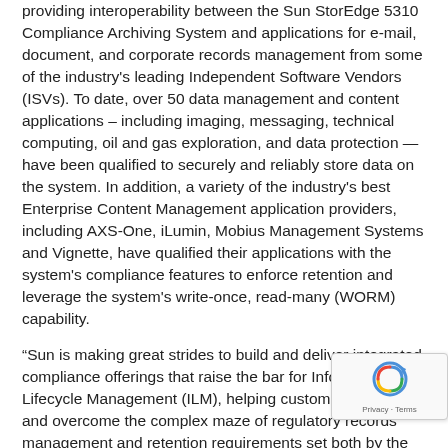providing interoperability between the Sun StorEdge 5310 Compliance Archiving System and applications for e-mail, document, and corporate records management from some of the industry's leading Independent Software Vendors (ISVs). To date, over 50 data management and content applications – including imaging, messaging, technical computing, oil and gas exploration, and data protection — have been qualified to securely and reliably store data on the system. In addition, a variety of the industry's best Enterprise Content Management application providers, including AXS-One, iLumin, Mobius Management Systems and Vignette, have qualified their applications with the system's compliance features to enforce retention and leverage the system's write-once, read-many (WORM) capability.
“Sun is making great strides to build and deliver integrated compliance offerings that raise the bar for Information Lifecycle Management (ILM), helping customers navigate and overcome the complex maze of regulatory records management and retention requirements set both by the government and their own internal guidelines,” said Mark Canepa, executive vice president of Storage at Sun. “Sun’s storage portfolio, industry leading id management solutions, Solaris(TM) 10 data-management